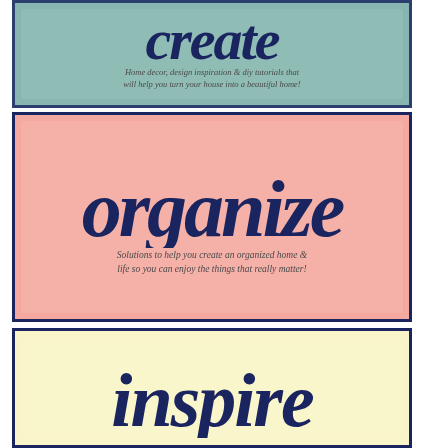[Figure (illustration): Teal/sage colored decorative card with script word 'create' and subtitle text about home decor]
[Figure (illustration): Pink decorative card with script word 'organize' and subtitle text about organized home and life]
[Figure (illustration): Light yellow decorative card with script word 'inspire' partially visible]